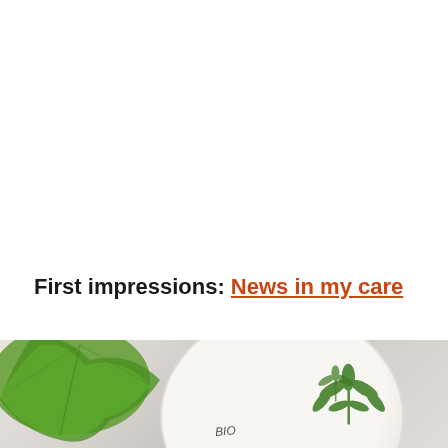First impressions: News in my care
[Figure (photo): Photo of a white cream/cosmetic container with a hemp leaf logo and 'BIO' text, placed on a marble surface with a green leaf in the foreground left]